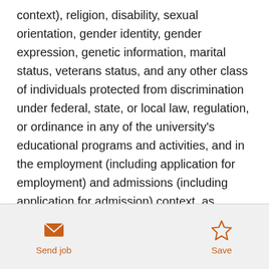context), religion, disability, sexual orientation, gender identity, gender expression, genetic information, marital status, veterans status, and any other class of individuals protected from discrimination under federal, state, or local law, regulation, or ordinance in any of the university's educational programs and activities, and in the employment (including application for employment) and admissions (including application for admission) context, as required by Title IX of the Education Amendments of 1972; Title III of the Americans with Disabilities Act of 1990, as amended in 2008; Section 504 of the
Send job | Save